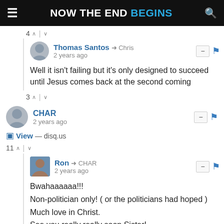NOW THE END BEGINS
4 ∧ | ∨
Thomas Santos → Chris
2 years ago
Well it isn't failing but it's only designed to succeed until Jesus comes back at the second coming
3 ∧ | ∨
CHAR
2 years ago
View — disq.us
11 ∧ | ∨
Ron → CHAR
2 years ago
Bwahaaaaaa!!!
Non-politician only! ( or the politicians had hoped )
Much love in Christ.
See you really really soon Sister!
God Bless You Char!